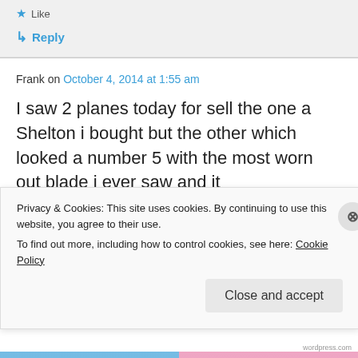Like
Reply
Frank on October 4, 2014 at 1:55 am
I saw 2 planes today for sell the one a Shelton i bought but the other which looked a number 5 with the most worn out blade i ever saw and it
Privacy & Cookies: This site uses cookies. By continuing to use this website, you agree to their use.
To find out more, including how to control cookies, see here: Cookie Policy
Close and accept